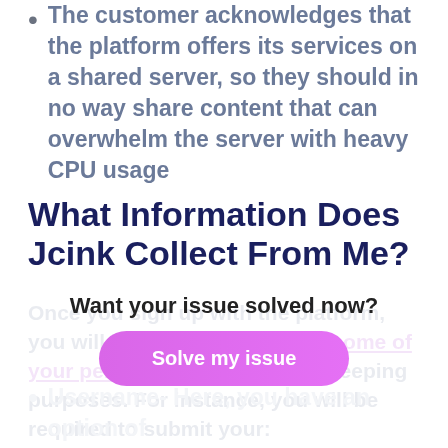The customer acknowledges that the platform offers its services on a shared server, so they should in no way share content that can overwhelm the server with heavy CPU usage
What Information Does Jcink Collect From Me?
Once you sign up with the platform, you will be required to submit some of your personal data for record-keeping purposes. For instance, you will be required to submit your:
Want your issue solved now?
Solve my issue
Username- Here, you have an option of